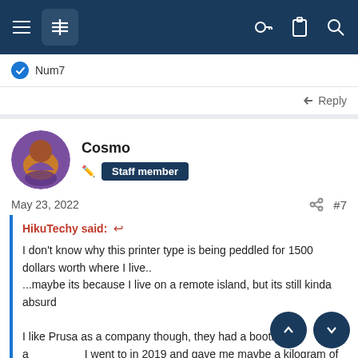Navigation bar with menu, filter, key, clipboard, and search icons
Num7
Reply
Cosmo
Staff member
May 23, 2022
#7
HikuTechy said:
I don't know why this printer type is being peddled for 1500 dollars worth where I live..
...maybe its because I live on a remote island, but its still kinda absurd

I like Prusa as a company though, they had a booth at a [event] I went to in 2019 and gave me maybe a kilogram of free [filament]